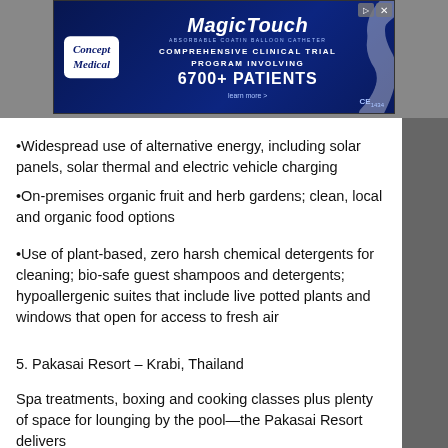[Figure (screenshot): Advertisement banner for Concept Medical MagicTouch product. Blue background with logo on left and text: COMPREHENSIVE CLINICAL TRIAL PROGRAM INVOLVING 6700+ PATIENTS. CE mark visible.]
Widespread use of alternative energy, including solar panels, solar thermal and electric vehicle charging
On-premises organic fruit and herb gardens; clean, local and organic food options
Use of plant-based, zero harsh chemical detergents for cleaning; bio-safe guest shampoos and detergents; hypoallergenic suites that include live potted plants and windows that open for access to fresh air
5. Pakasai Resort – Krabi, Thailand
Spa treatments, boxing and cooking classes plus plenty of space for lounging by the pool—the Pakasai Resort delivers